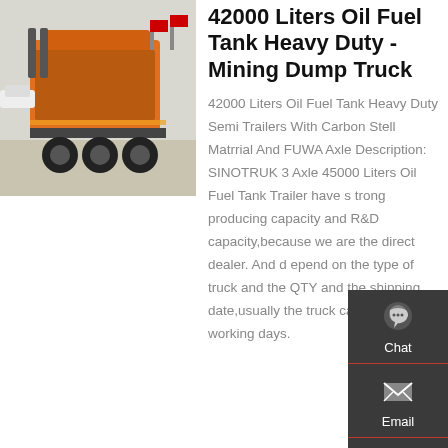[Figure (photo): Orange heavy duty truck/tractor viewed from the rear, parked in an outdoor lot with other trucks in the background.]
42000 Liters Oil Fuel Tank Heavy Duty - Mining Dump Truck
42000 Liters Oil Fuel Tank Heavy Duty Semi Trailers With Carbon Stell Matrrial And FUWA Axle Description: SINOTRUK 3 Axle 45000 Liters Oil Fuel Tank Trailer have s trong producing capacity and R&D capacity,because we are the direct dealer. And depend on the type of truck and the QTY and the shipping date,usually the truck can be ok on 20 working days.
[Figure (infographic): Sidebar with Chat, Email, Contact, and Top navigation buttons on dark background.]